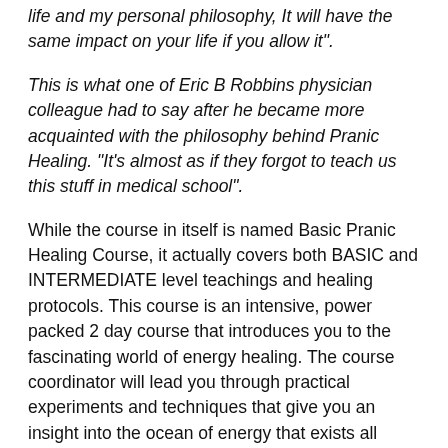life and my personal philosophy, It will have the same impact on your life if you allow it".
This is what one of Eric B Robbins physician colleague had to say after he became more acquainted with the philosophy behind Pranic Healing. “It’s almost as if they forgot to teach us this stuff in medical school”.
While the course in itself is named Basic Pranic Healing Course, it actually covers both BASIC and INTERMEDIATE level teachings and healing protocols. This course is an intensive, power packed 2 day course that introduces you to the fascinating world of energy healing. The course coordinator will lead you through practical experiments and techniques that give you an insight into the ocean of energy that exists all around us and get your ‘hands moving’ to create positive changes in your life.